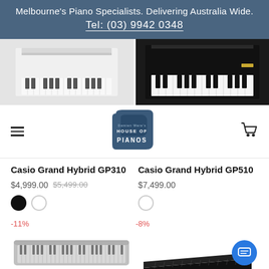Melbourne's Piano Specialists. Delivering Australia Wide.
Tel: (03) 9942 0348
[Figure (photo): Two pianos side by side: a white upright digital piano on the left, a black grand-style digital piano on the right]
[Figure (logo): House of Pianos logo — grand piano silhouette in dark blue with text 'HOUSE OF PIANOS']
Casio Grand Hybrid GP310
$4,999.00  $5,499.00
Casio Grand Hybrid GP510
$7,499.00
-11%
-8%
[Figure (photo): Light grey slim 88-key digital piano keyboard]
[Figure (photo): Black slim 88-key digital piano keyboard at an angle]